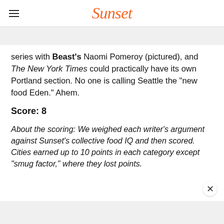Sunset
series with Beast's Naomi Pomeroy (pictured), and The New York Times could practically have its own Portland section. No one is calling Seattle the “new food Eden.” Ahem.
Score: 8
About the scoring: We weighed each writer’s argument against Sunset’s collective food IQ and then scored. Cities earned up to 10 points in each category except “smug factor,” where they lost points.